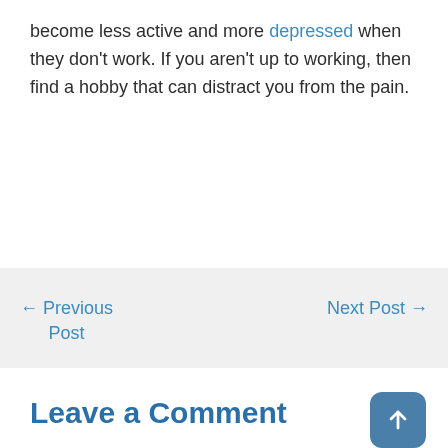become less active and more depressed when they don't work. If you aren't up to working, then find a hobby that can distract you from the pain.
← Previous Post
Next Post →
Leave a Comment
Your email address will not be published. Required fields are marked *